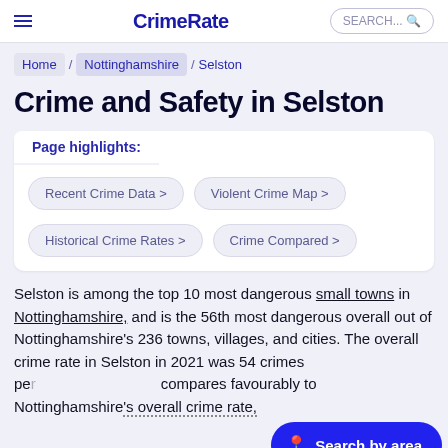CrimeRate
Home / Nottinghamshire / Selston
Crime and Safety in Selston
Page highlights:
Recent Crime Data >
Violent Crime Map >
Historical Crime Rates >
Crime Compared >
Selston is among the top 10 most dangerous small towns in Nottinghamshire, and is the 56th most dangerous overall out of Nottinghamshire's 236 towns, villages, and cities. The overall crime rate in Selston in 2021 was 54 crimes pe… compares favourably to Nottinghamshire's overall crime rate,